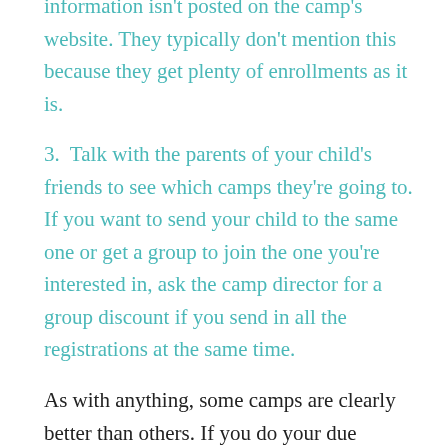information isn't posted on the camp's website. They typically don't mention this because they get plenty of enrollments as it is.
3.  Talk with the parents of your child's friends to see which camps they're going to. If you want to send your child to the same one or get a group to join the one you're interested in, ask the camp director for a group discount if you send in all the registrations at the same time.
As with anything, some camps are clearly better than others. If you do your due diligence, ask the right questions and go with your gut feelings, chances are good that you'll find the best Summer Camp for your child and a good time will be had by all.
If you'd like to know more about life-changing skill building